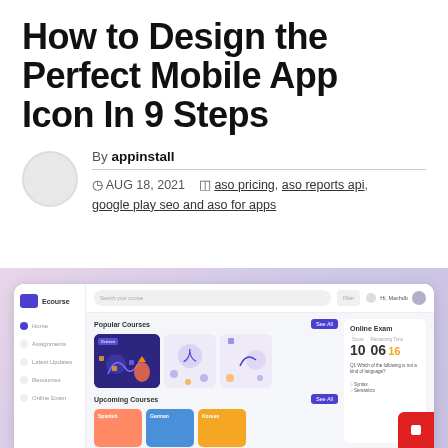How to Design the Perfect Mobile App Icon In 9 Steps
By appinstall
AUG 18, 2021   aso pricing, aso reports api, google play seo and aso for apps
[Figure (screenshot): Screenshot of an e-learning app UI (Ecourse) showing popular courses, upcoming courses, and an online exam panel with score display and a red floating button]